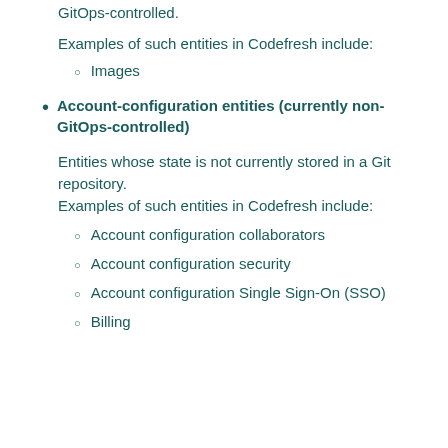GitOps-controlled.
Examples of such entities in Codefresh include:
Images
Account-configuration entities (currently non-GitOps-controlled)
Entities whose state is not currently stored in a Git repository.
Examples of such entities in Codefresh include:
Account configuration collaborators
Account configuration security
Account configuration Single Sign-On (SSO)
Billing